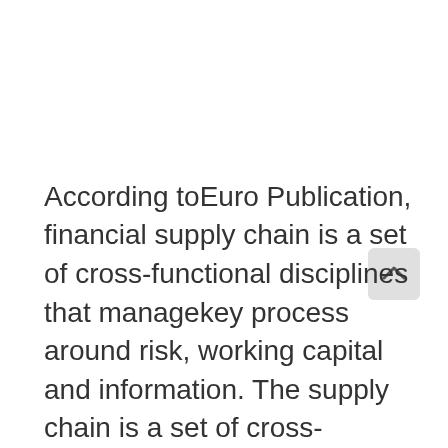[Figure (other): A scroll-to-top button icon with an upward arrow, light gray rounded rectangle background]
According toEuro Publication, financial supply chain is a set of cross-functional disciplines that managekey process around risk, working capital and information. The supply chain management...